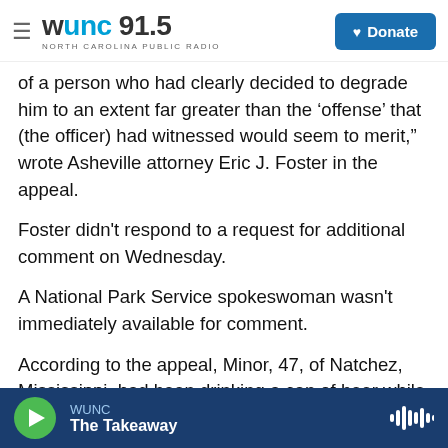WUNC 91.5 NORTH CAROLINA PUBLIC RADIO | Donate
of a person who had clearly decided to degrade him to an extent far greater than the ‘offense’ that (the officer) had witnessed would seem to merit,” wrote Asheville attorney Eric J. Foster in the appeal.
Foster didn't respond to a request for additional comment on Wednesday.
A National Park Service spokeswoman wasn't immediately available for comment.
According to the appeal, Minor, 47, of Natchez, Mississippi, had been drinking a can of beer while he was a passenger in a car driven by his girlfriend
WUNC | The Takeaway